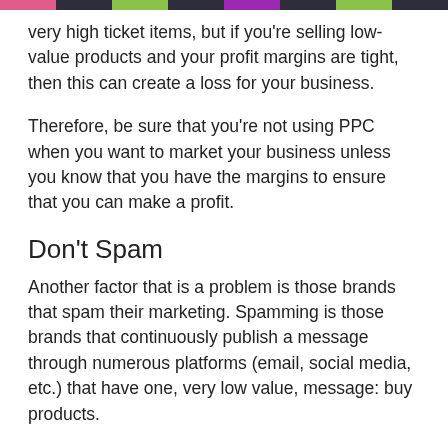[colored bar header]
very high ticket items, but if you're selling low-value products and your profit margins are tight, then this can create a loss for your business.
Therefore, be sure that you're not using PPC when you want to market your business unless you know that you have the margins to ensure that you can make a profit.
Don't Spam
Another factor that is a problem is those brands that spam their marketing. Spamming is those brands that continuously publish a message through numerous platforms (email, social media, etc.) that have one, very low value, message: buy products.
Spam can have a significant impact on the success of your brand. For one, you can be banned from